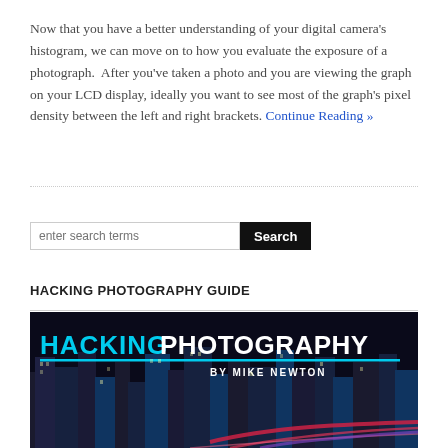Now that you have a better understanding of your digital camera's histogram, we can move on to how you evaluate the exposure of a photograph.  After you've taken a photo and you are viewing the graph on your LCD display, ideally you want to see most of the graph's pixel density between the left and right brackets. Continue Reading »
[Figure (other): Search bar with text input field placeholder 'enter search terms' and a black 'Search' button]
HACKING PHOTOGRAPHY GUIDE
[Figure (photo): Book cover image for 'HACKING PHOTOGRAPHY by Mike Newton' showing a night cityscape with light trails, tall buildings, and bold cyan and white text on a dark background.]